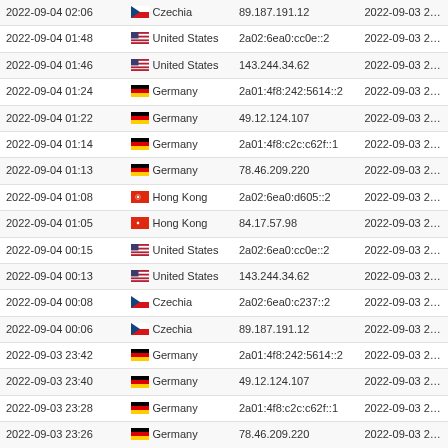| 2022-09-04 02:06 | Czechia | 89.187.191.12 | 2022-09-03 23:25 |
| 2022-09-04 01:48 | United States | 2a02:6ea0:cc0e::2 | 2022-09-03 23:25 |
| 2022-09-04 01:46 | United States | 143.244.34.62 | 2022-09-03 23:25 |
| 2022-09-04 01:24 | Germany | 2a01:4f8:242:5614::2 | 2022-09-03 23:25 |
| 2022-09-04 01:22 | Germany | 49.12.124.107 | 2022-09-03 23:25 |
| 2022-09-04 01:14 | Germany | 2a01:4f8:c2c:c62f::1 | 2022-09-03 23:25 |
| 2022-09-04 01:13 | Germany | 78.46.209.220 | 2022-09-03 23:25 |
| 2022-09-04 01:08 | Hong Kong | 2a02:6ea0:d605::2 | 2022-09-03 23:25 |
| 2022-09-04 01:05 | Hong Kong | 84.17.57.98 | 2022-09-03 23:25 |
| 2022-09-04 00:15 | United States | 2a02:6ea0:cc0e::2 | 2022-09-03 23:25 |
| 2022-09-04 00:13 | United States | 143.244.34.62 | 2022-09-03 23:25 |
| 2022-09-04 00:08 | Czechia | 2a02:6ea0:c237::2 | 2022-09-03 23:25 |
| 2022-09-04 00:06 | Czechia | 89.187.191.12 | 2022-09-03 23:25 |
| 2022-09-03 23:42 | Germany | 2a01:4f8:242:5614::2 | 2022-09-03 20:25 |
| 2022-09-03 23:40 | Germany | 49.12.124.107 | 2022-09-03 20:25 |
| 2022-09-03 23:28 | Germany | 2a01:4f8:c2c:c62f::1 | 2022-09-03 20:25 |
| 2022-09-03 23:26 | Germany | 78.46.209.220 | 2022-09-03 20:25 |
| 2022-09-03 23:13 | Hong Kong | 2a02:6ea0:d605::2 | 2022-09-03 20:25 |
| 2022-09-03 23:10 | Hong Kong | 84.17.57.98 | 2022-09-03 20:25 |
| 2022-09-03 22:43 | Czechia | 2a02:6ea0:c237::2 | 2022-09-03 20:25 |